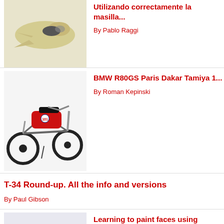[Figure (photo): Model of a plane/aircraft fuselage in yellow/cream color]
Utilizando correctamente la masilla...
By Pablo Raggi
[Figure (photo): BMW R80GS Paris Dakar motorcycle model, red and white with Marlboro livery]
BMW R80GS Paris Dakar Tamiya 1...
By Roman Kepinski
T-34 Round-up. All the info and versions
By Paul Gibson
[Figure (photo): Miniature painted figure of a fantasy/medieval warrior with colorful armor]
Learning to paint faces using acrylic...
By Claudio Fernandez